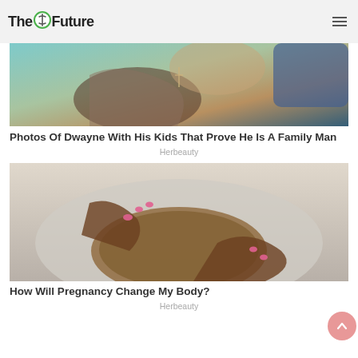The Future
[Figure (photo): Photo of a tattooed person wearing a cross necklace, holding a baby]
Photos Of Dwayne With His Kids That Prove He Is A Family Man
Herbeauty
[Figure (photo): Close-up photo of a pregnant woman in a grey hoodie cradling her belly with both hands, showing pink painted nails]
How Will Pregnancy Change My Body?
Herbeauty